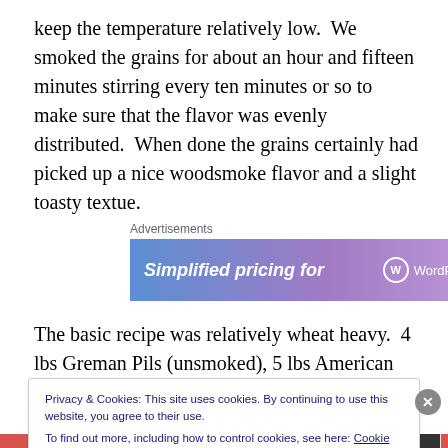keep the temperature relatively low.  We smoked the grains for about an hour and fifteen minutes stirring every ten minutes or so to make sure that the flavor was evenly distributed.  When done the grains certainly had picked up a nice woodsmoke flavor and a slight toasty textue.
[Figure (other): WordPress.com advertisement banner: 'Simplified pricing for' with WordPress.com logo on gradient blue-purple background]
The basic recipe was relatively wheat heavy.  4 lbs Greman Pils (unsmoked), 5 lbs American Wheat, 1 lb
Privacy & Cookies: This site uses cookies. By continuing to use this website, you agree to their use.
To find out more, including how to control cookies, see here: Cookie Policy